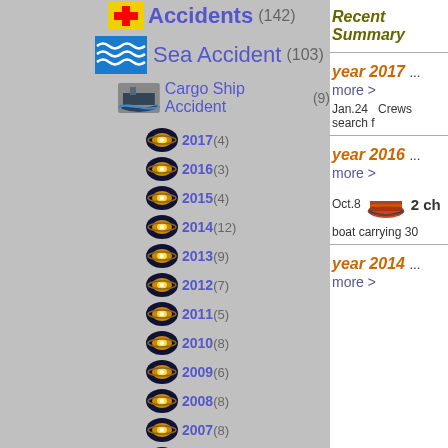Accidents (142)
Sea Accident (103)
Cargo Ship Accident (9)
2017 (4)
2016 (3)
2015 (4)
2014 (12)
2013 (9)
2012 (7)
2011 (5)
2010 (8)
2009 (6)
2008 (8)
2007 (8)
2006 (8)
2005 (6)
2004 (3)
2003 (5)
2002 (5)
2001 (1)
Recent Summary
year 2017 ... more >
Jan.24    Crews search f
year 2016 ... more >
Oct.8    2 ch
boat carrying 30
year 2014 ... more >